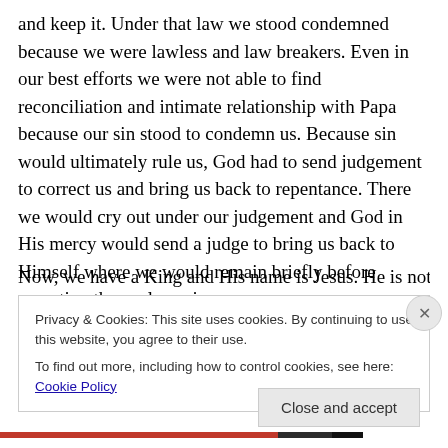and keep it. Under that law we stood condemned because we were lawless and law breakers. Even in our best efforts we were not able to find reconciliation and intimate relationship with Papa because our sin stood to condemn us. Because sin would ultimately rule us, God had to send judgement to correct us and bring us back to repentance. There we would cry out under our judgement and God in His mercy would send a judge to bring us back to Himself where we would remain briefly before repeating the cycle again.
Now, we have a King and His name is Jesus. He is not
Privacy & Cookies: This site uses cookies. By continuing to use this website, you agree to their use.
To find out more, including how to control cookies, see here: Cookie Policy
Close and accept